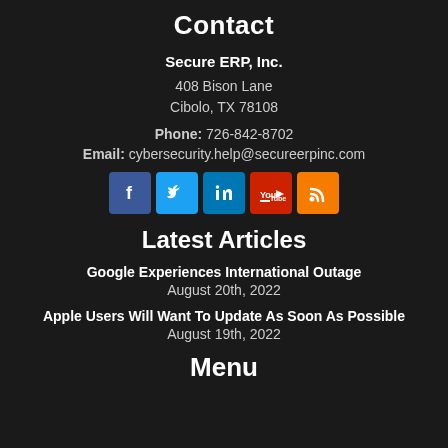Contact
Secure ERP, Inc.
408 Bison Lane
Cibolo, TX 78108
Phone: 726-842-8702
Email: cybersecurity.help@secureerpinc.com
[Figure (infographic): Social media icons: Facebook (blue), Twitter (light blue), LinkedIn (dark blue), YouTube (red), RSS (orange)]
Latest Articles
Google Experiences International Outage
August 20th, 2022
Apple Users Will Want To Update As Soon As Possible
August 19th, 2022
Menu